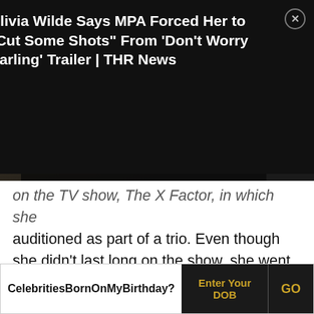[Figure (screenshot): Video thumbnail showing a woman with blonde hair against dark background, with a white play button in center. Overlay text labels 'ART', 'LM', 'GU' visible. News popup in top right: 'Olivia Wilde Says MPA Forced Her to "Cut Some Shots" From Don't Worry Darling Trailer | THR News' with X close button.]
on the TV show, The X Factor, in which she auditioned as part of a trio. Even though she didn't last long on the show, she went ahead to create her own music and became a sensation following the release of her eponymous album that topped the US R&B chart.
5  Leona Lewis
(Known for Her Debut Studio Album 'Spirit' and as the Winner of Third Series of 'X-Factor')
Celebrities Born On My Birthday?  Enter Your DOB  GO